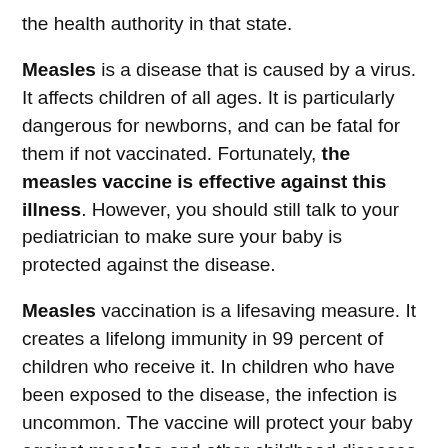the health authority in that state.
Measles is a disease that is caused by a virus. It affects children of all ages. It is particularly dangerous for newborns, and can be fatal for them if not vaccinated. Fortunately, the measles vaccine is effective against this illness. However, you should still talk to your pediatrician to make sure your baby is protected against the disease.
Measles vaccination is a lifesaving measure. It creates a lifelong immunity in 99 percent of children who receive it. In children who have been exposed to the disease, the infection is uncommon. The vaccine will protect your baby against measles and other childhood diseases. If you think that your child has measles, you should get him vaccinated.